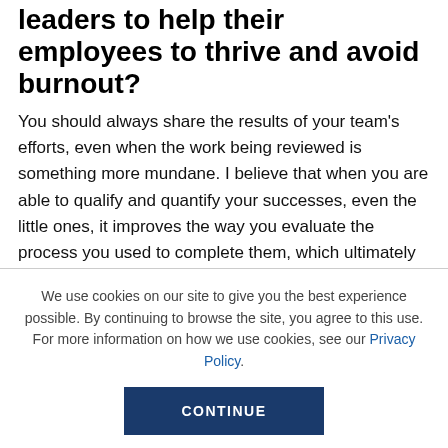leaders to help their employees to thrive and avoid burnout?
You should always share the results of your team's efforts, even when the work being reviewed is something more mundane. I believe that when you are able to qualify and quantify your successes, even the little ones, it improves the way you evaluate the process you used to complete them, which ultimately helps you make improvements in all workflows.
We use cookies on our site to give you the best experience possible. By continuing to browse the site, you agree to this use. For more information on how we use cookies, see our Privacy Policy.
CONTINUE